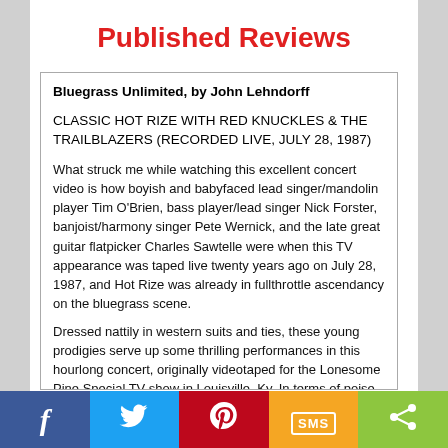Published Reviews
Bluegrass Unlimited, by John Lehndorff
CLASSIC HOT RIZE WITH RED KNUCKLES & THE TRAILBLAZERS (RECORDED LIVE, JULY 28, 1987)
What struck me while watching this excellent concert video is how boyish and babyfaced lead singer/mandolin player Tim O'Brien, bass player/lead singer Nick Forster, banjoist/harmony singer Pete Wernick, and the late great guitar flatpicker Charles Sawtelle were when this TV appearance was taped live twenty years ago on July 28, 1987, and Hot Rize was already in fullthrottle ascendancy on the bluegrass scene.
Dressed nattily in western suits and ties, these young prodigies serve up some thrilling performances in this hourlong concert, originally videotaped for the Lonesome Pine Special TV show in Louisville, Ky. In terms of poise, precision, and musical prowess, these guys had it all in spades. The set list includes Hot Rize mainstays such as “Untold Stories” (penned by O’Brien) and “Don’t Make Me Believe” (a Forster original), and bluegrass
f  [twitter]  [pinterest]  SMS  <